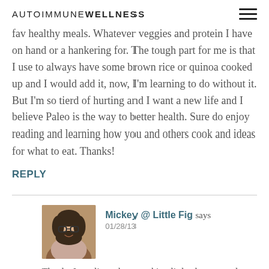AUTOIMMUNE WELLNESS
fav healthy meals. Whatever veggies and protein I have on hand or a hankering for. The tough part for me is that I use to always have some brown rice or quinoa cooked up and I would add it, now, I'm learning to do without it. But I'm so tierd of hurting and I want a new life and I believe Paleo is the way to better health. Sure do enjoy reading and learning how you and others cook and ideas for what to eat. Thanks!
REPLY
[Figure (photo): Avatar photo of Mickey @ Little Fig, a woman with glasses and wavy dark hair]
Mickey @ Little Fig says
01/28/13
Thanks Jaqueline – keep making little changes and eventually you will get there! Good luck! 🙂
REPLY